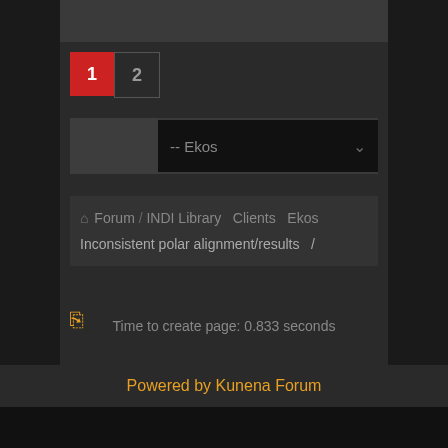[Figure (screenshot): Pagination control showing page 1 (active, red) and page 2]
[Figure (screenshot): Dropdown selector showing '-- Ekos' option]
Forum / INDI Library  Clients  Ekos  Inconsistent polar alignment/results /
Time to create page: 0.833 seconds
Powered by Kunena Forum